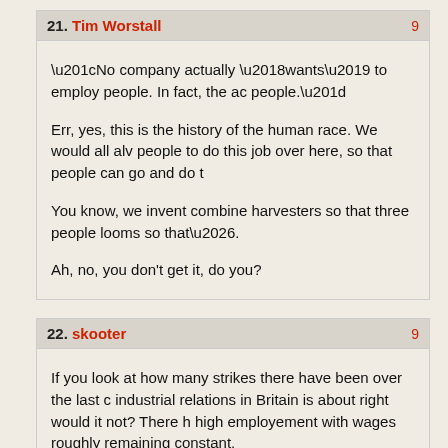21. Tim Worstall  9…
“No company actually ‘wants’ to employ people. In fact, the ac people.”

Err, yes, this is the history of the human race. We would all alv people to do this job over here, so that people can go and do t

You know, we invent combine harvesters so that three people looms so that….

Ah, no, you don’t get it, do you?
22. skooter  9…
If you look at how many strikes there have been over the last c industrial relations in Britain is about right would it not? There h high employement with wages roughly remaining constant.